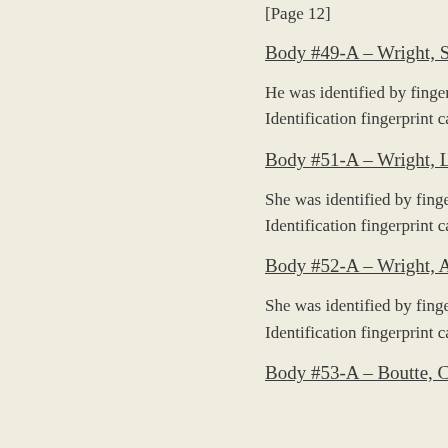[Page 12]
Body #49-A – Wright, Stanley
He was identified by fingerprint. Identification fingerprint card
Body #51-A – Wright, Leom
She was identified by fingerprint. Identification fingerprint card
Body #52-A – Wright, Arlisa
She was identified by fingerprint. Identification fingerprint card
Body #53-A – Boutte, Carlie